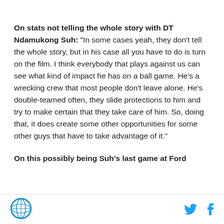On stats not telling the whole story with DT Ndamukong Suh: "In some cases yeah, they don't tell the whole story, but in his case all you have to do is turn on the film. I think everybody that plays against us can see what kind of impact he has on a ball game. He's a wrecking crew that most people don't leave alone. He's double-teamed often, they slide protections to him and try to make certain that they take care of him. So, doing that, it does create some other opportunities for some other guys that have to take advantage of it."
On this possibly being Suh's last game at Ford
[Figure (logo): Circular logo with blue border, globe/map illustration]